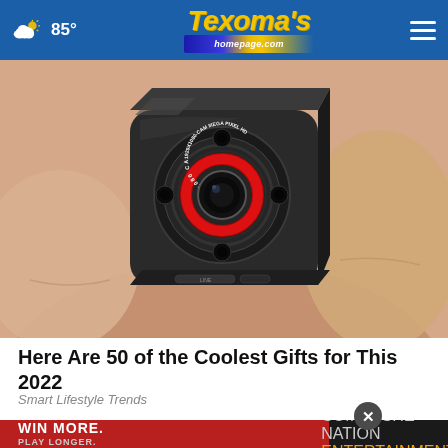85° Texoma's homepage.com
[Figure (photo): Close-up of a tiny cube-shaped spy camera being held between fingers, showing a circular lens with red text around it and several small black sensor dots]
Here Are 50 of the Coolest Gifts for This 2022
Smart Lifestyle Trends
[Figure (photo): Advertisement banner: WIN MORE. PLAY LONGER. with Comanche Nation Entertainment logo on the right]